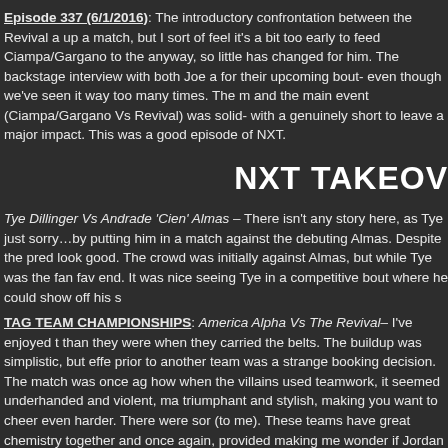Episode 337 (6/1/2016): The introductory confrontation between the Revival a up a match, but I sort of feel it's a bit too early to feed Ciampa/Gargano to the anyway, so little has changed for him. The backstage interview with both Joe a for their upcoming bout- even though we've seen it way too many times. The m and the main event (Ciampa/Gargano Vs Revival) was solid- with a genuinely short to leave a major impact. This was a good episode of NXT.
NXT TAKEOV
Tye Dillinger Vs Andrade 'Cien' Almas – There isn't any story here, as Tye just sorry…by putting him in a match against the debuting Almas. Despite the pred look good. The crowd was initially against Almas, but while Tye was the fan fav end. It was nice seeing Tye in a competitive bout where he could show off his s
TAG TEAM CHAMPIONSHIPS: America Alpha Vs The Revival– I've enjoyed t than they were when they carried the belts. The buildup was simplistic, but effe prior to another team was a strange booking decision. The match was once ag how when the villains used teamwork, it seemed underhanded and violent, ma triumphant and stylish, making you want to cheer even harder. There were sor (to me). These teams have great chemistry together and once again, provided making me wonder if Jordan and Gable are exiting the Tag Team Championsh line for a shot?
Austin Aries Vs Shinsuke Nakamura– This was an intriguing pairing that make